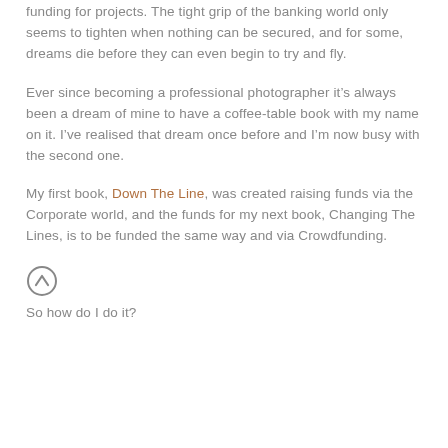funding for projects. The tight grip of the banking world only seems to tighten when nothing can be secured, and for some, dreams die before they can even begin to try and fly.
Ever since becoming a professional photographer it’s always been a dream of mine to have a coffee-table book with my name on it. I’ve realised that dream once before and I’m now busy with the second one.
My first book, Down The Line, was created raising funds via the Corporate world, and the funds for my next book, Changing The Lines, is to be funded the same way and via Crowdfunding.
[Figure (illustration): Upward chevron / up arrow icon inside a circle outline]
So how do I do it?